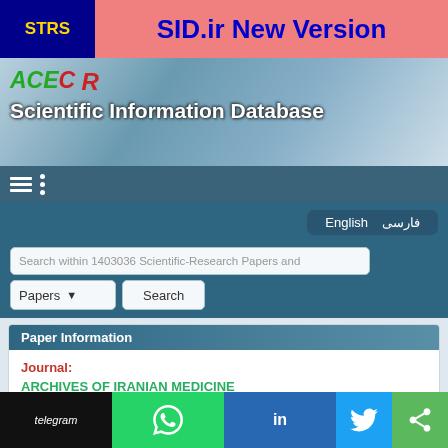STRS | SID.ir New Version
[Figure (screenshot): ACECR Scientific Information Database logo and header banner with blue gradient background]
[Figure (screenshot): Navigation hamburger menu icon on dark blue bar]
[Figure (screenshot): Language selection bar with English and Farsi buttons]
[Figure (screenshot): Search bar with text: Search within 1403036 Scientific-Research Papers and, Papers dropdown and Search button]
Paper Information
Journal: ARCHIVES OF IRANIAN MEDICINE OCTOBER 2014 , Volume 17 , Number 10; Page(s) 713 To 721.
telegram | whatsapp | linkedin | twitter | share